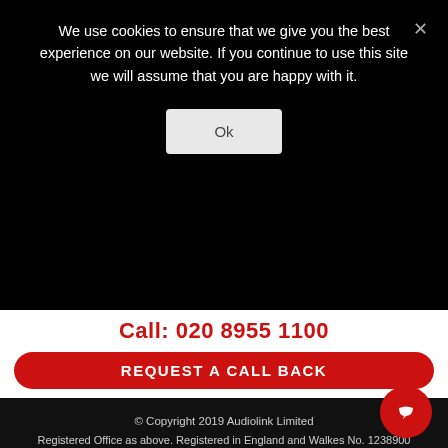We use cookies to ensure that we give you the best experience on our website. If you continue to use this site we will assume that you are happy with it.
Ok
Call: 020 8955 1100
REQUEST A CALL BACK
© Copyright 2019 Audiolink Limited
Registered Office as above. Registered in England and Walkes No. 1238900

Privacy Policy | Terms & Conditions | Cookie Policy | Website by Orca Creative